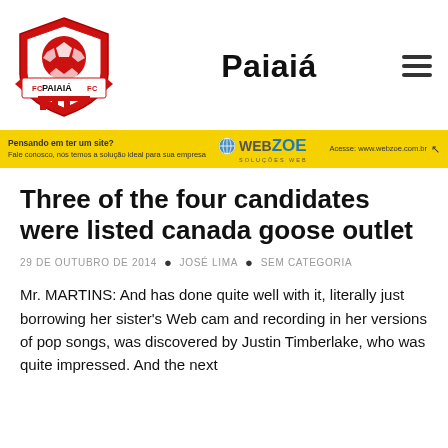Paiaiá
[Figure (logo): Paiaiá FC soccer club logo: red shield with soccer ball and banner reading FC PAIAIÁ FC]
[Figure (infographic): Webzoe advertisement banner with yellow background: Pensando em ter um site? Fale conosco, nós temos a solução ideal para sua empresa. WEBZOE SOLUÇÕES WEB. Acesse: www.webzoe.com.br]
Three of the four candidates were listed canada goose outlet
29 DE OUTUBRO DE 2014 • JOSÉ LIMA • SEM CATEGORIA
Mr. MARTINS: And has done quite well with it, literally just borrowing her sister's Web cam and recording in her versions of pop songs, was discovered by Justin Timberlake, who was quite impressed. And the next